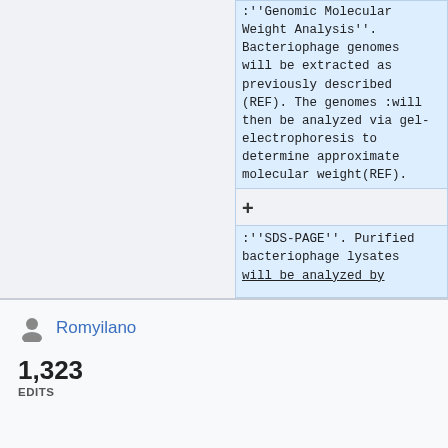:''Genomic Molecular Weight Analysis''. Bacteriophage genomes will be extracted as previously described (REF). The genomes :will then be analyzed via gel-electrophoresis to determine approximate molecular weight(REF).
:''SDS-PAGE''. Purified bacteriophage lysates will be analyzed by
Romyilano
1,323
EDITS